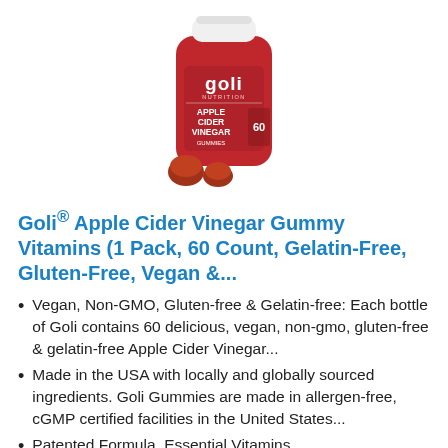[Figure (photo): Red bottle of Goli Nutrition Apple Cider Vinegar Gummies with white cap, with two gummies in front of the bottle]
Goli® Apple Cider Vinegar Gummy Vitamins (1 Pack, 60 Count, Gelatin-Free, Gluten-Free, Vegan &...
Vegan, Non-GMO, Gluten-free & Gelatin-free: Each bottle of Goli contains 60 delicious, vegan, non-gmo, gluten-free & gelatin-free Apple Cider Vinegar...
Made in the USA with locally and globally sourced ingredients. Goli Gummies are made in allergen-free, cGMP certified facilities in the United States...
Patented Formula, Essential Vitamins...